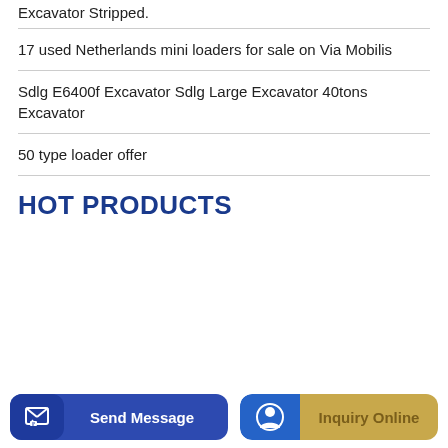Excavator Stripped.
17 used Netherlands mini loaders for sale on Via Mobilis
Sdlg E6400f Excavator Sdlg Large Excavator 40tons Excavator
50 type loader offer
HOT PRODUCTS